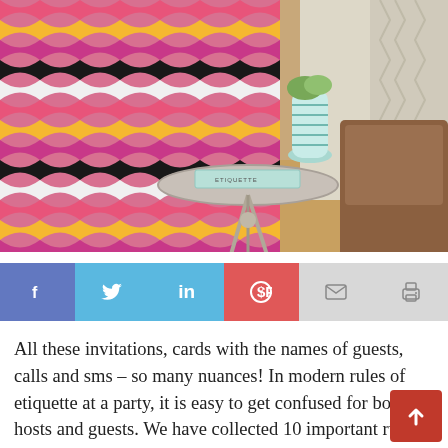[Figure (photo): Interior lifestyle photo showing a colorful zigzag/chevron patterned knitted blanket draped over a surface, a metallic side table with a light blue etiquette book and teal striped vase on top, and a brown leather chair in the background with patterned curtains.]
[Figure (infographic): Social media share bar with six buttons: Facebook (blue), Twitter (light blue), LinkedIn (light blue), Pinterest (red), Email (light gray), Print (light gray)]
All these invitations, cards with the names of guests, calls and sms – so many nuances! In modern rules of etiquette at a party, it is easy to get confused for both hosts and guests. We have collected 10 important rules of etiquette at a party and with guests: from ideas for gifts to hosts (a good book is